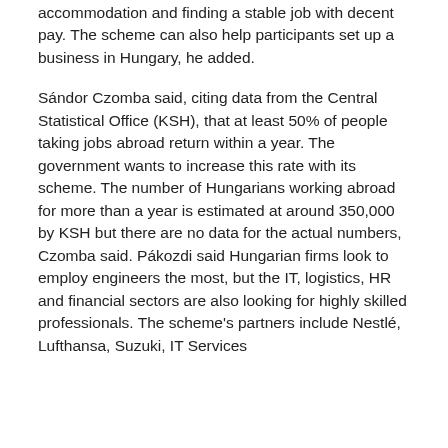accommodation and finding a stable job with decent pay. The scheme can also help participants set up a business in Hungary, he added.
Sándor Czomba said, citing data from the Central Statistical Office (KSH), that at least 50% of people taking jobs abroad return within a year. The government wants to increase this rate with its scheme. The number of Hungarians working abroad for more than a year is estimated at around 350,000 by KSH but there are no data for the actual numbers, Czomba said. Pákozdi said Hungarian firms look to employ engineers the most, but the IT, logistics, HR and financial sectors are also looking for highly skilled professionals. The scheme's partners include Nestlé, Lufthansa, Suzuki, IT Services